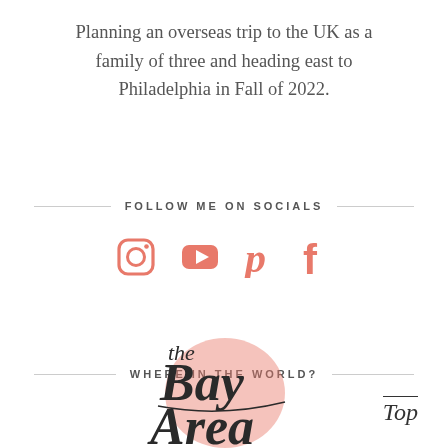Planning an overseas trip to the UK as a family of three and heading east to Philadelphia in Fall of 2022.
FOLLOW ME ON SOCIALS
[Figure (illustration): Four social media icons: Instagram, YouTube, Pinterest, Facebook in salmon/coral color]
WHERE IN THE WORLD?
[Figure (logo): The Bay Area script logo in dark charcoal with salmon/coral accent color]
Top